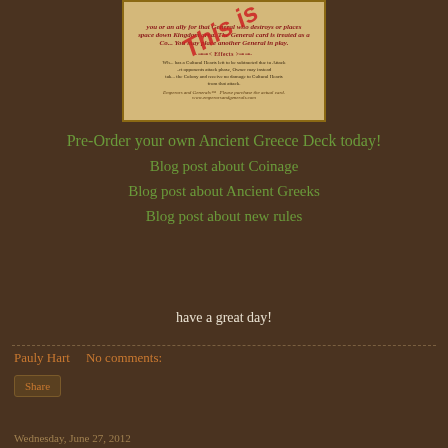[Figure (illustration): A game card image from 'Emperors and Generals' with parchment background, decorative text including 'Effects' section, overlaid with red italic diagonal text reading 'This is']
Pre-Order your own Ancient Greece Deck today!
Blog post about Coinage
Blog post about Ancient Greeks
Blog post about new rules
have a great day!
Pauly Hart   No comments:
Share
Wednesday, June 27, 2012